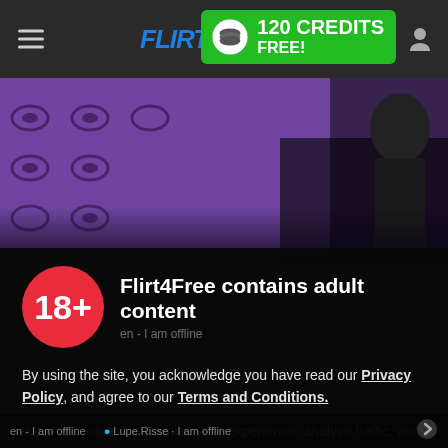FLIRT4FREE - 120 CREDITS FREE!
[Figure (screenshot): Hero image of adult content streamer with purple patterned background]
Flirt4Free contains adult content
By using the site, you acknowledge you have read our Privacy Policy, and agree to our Terms and Conditions.
We use cookies to optimize your experience, analyze traffic, and deliver more personalized service. To learn more, please see our Privacy Policy.
I AGREE